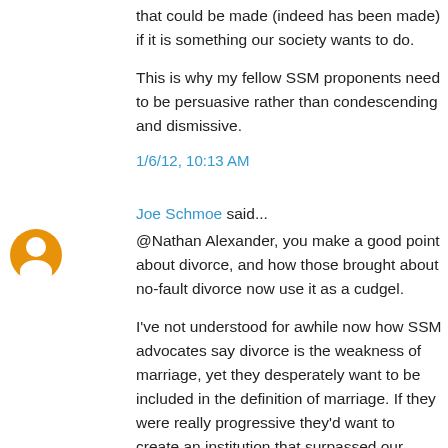that could be made (indeed has been made) if it is something our society wants to do.
This is why my fellow SSM proponents need to be persuasive rather than condescending and dismissive.
1/6/12, 10:13 AM
Joe Schmoe said...
@Nathan Alexander, you make a good point about divorce, and how those brought about no-fault divorce now use it as a cudgel.
I've not understood for awhile now how SSM advocates say divorce is the weakness of marriage, yet they desperately want to be included in the definition of marriage. If they were really progressive they'd want to create an institution that surpassed our current construct. But in my experience, regardless of sexual preference, homosexuals can be a bit parochial, just like hetero
Divorce is an unfortunate outcome, but it doesn't diminish the power of marriage. To wit, when celebrities (and non-celebrities) divorce, how often do they end up re-marrying? I've no stats, but it's gotta be more than half the time. Pro